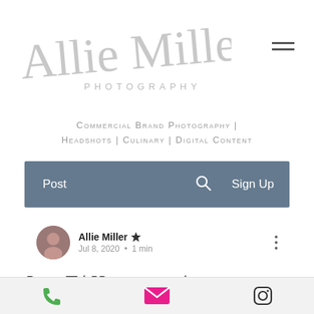[Figure (logo): Allie Miller Photography script logo in light gray]
Commercial Brand Photography | Headshots | Culinary | Digital Content
Post  🔍  Sign Up
Allie Miller 👑  Jul 8, 2020 • 1 min
Lisa T | Headshots | Destination |